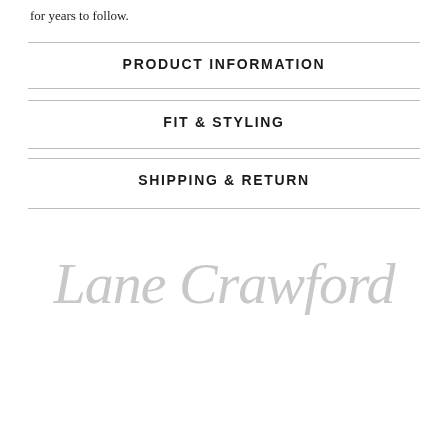for years to follow.
PRODUCT INFORMATION
FIT & STYLING
SHIPPING & RETURN
[Figure (logo): Lane Crawford logo in italic serif script, light grey color]